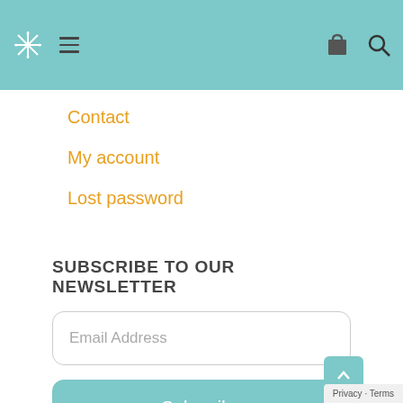Navigation header with logo, hamburger menu, cart icon, search icon
Contact
My account
Lost password
SUBSCRIBE TO OUR NEWSLETTER
Email Address
Subscribe
Privacy · Terms